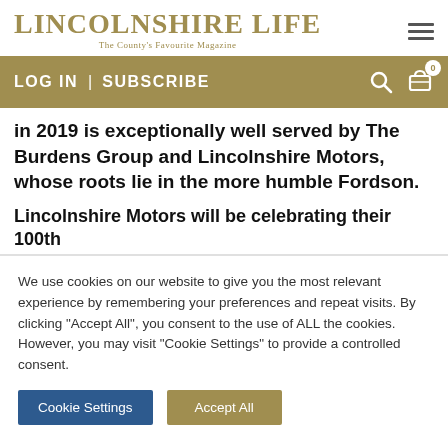LINCOLNSHIRE LIFE — The County's Favourite Magazine
LOG IN | SUBSCRIBE
in 2019 is exceptionally well served by The Burdens Group and Lincolnshire Motors, whose roots lie in the more humble Fordson.
Lincolnshire Motors will be celebrating their 100th
We use cookies on our website to give you the most relevant experience by remembering your preferences and repeat visits. By clicking "Accept All", you consent to the use of ALL the cookies. However, you may visit "Cookie Settings" to provide a controlled consent.